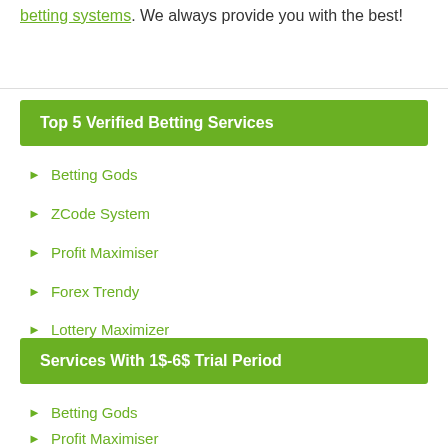betting systems. We always provide you with the best!
Top 5 Verified Betting Services
Betting Gods
ZCode System
Profit Maximiser
Forex Trendy
Lottery Maximizer
Services With 1$-6$ Trial Period
Betting Gods
Profit Maximiser